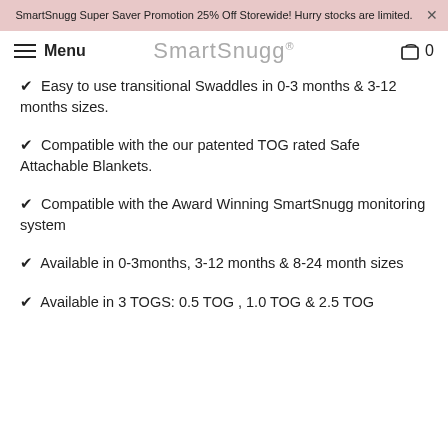SmartSnugg Super Saver Promotion 25% Off Storewide! Hurry stocks are limited.
Menu SmartSnugg® 0
✔ Easy to use transitional Swaddles in 0-3 months & 3-12 months sizes.
✔ Compatible with the our patented TOG rated Safe Attachable Blankets.
✔ Compatible with the Award Winning SmartSnugg monitoring system
✔ Available in 0-3months, 3-12 months & 8-24 month sizes
✔ Available in 3 TOGS: 0.5 TOG , 1.0 TOG & 2.5 TOG